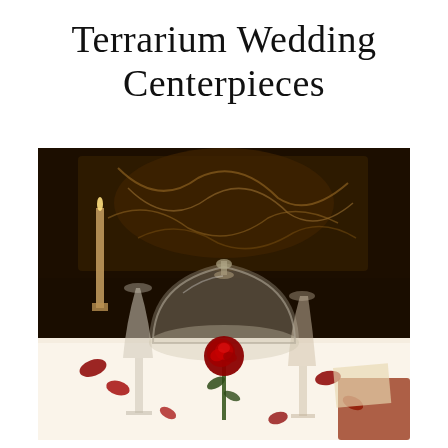Terrarium Wedding Centerpieces
[Figure (photo): A romantic wedding table centerpiece featuring a glass cloche/bell jar dome covering a single red rose, surrounded by crystal champagne flutes and scattered red rose petals on a white tablecloth, with an ornate dark backdrop.]